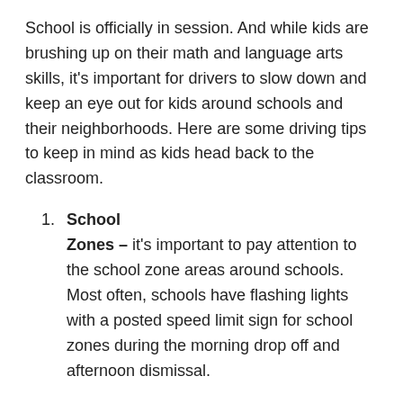School is officially in session. And while kids are brushing up on their math and language arts skills, it's important for drivers to slow down and keep an eye out for kids around schools and their neighborhoods. Here are some driving tips to keep in mind as kids head back to the classroom.
School Zones – it's important to pay attention to the school zone areas around schools. Most often, schools have flashing lights with a posted speed limit sign for school zones during the morning drop off and afternoon dismissal.